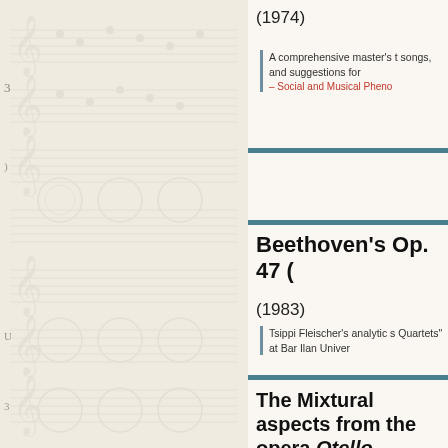(1974)
A comprehensive master's t songs, and suggestions for – Social and Musical Pheno
Beethoven's Op. 47 (
(1983)
Tsippi Fleischer's analytic s Quartets" at Bar Ilan Univer
The Mixtural aspects from the opera Otello